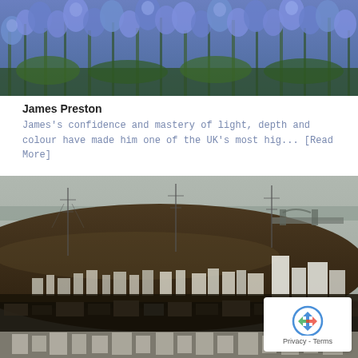[Figure (photo): Close-up photograph of blue/purple flowers with green foliage, impressionistic style]
James Preston
James's confidence and mastery of light, depth and colour have made him one of the UK's most hig... [Read More]
[Figure (photo): Aerial landscape painting/photo of an industrial city with a dark hill in the background, power lines, and dense urban sprawl in foreground]